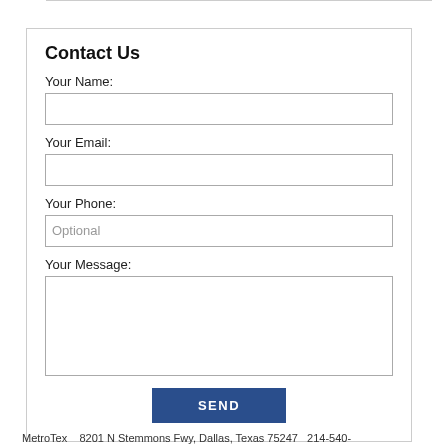Contact Us
Your Name:
Your Email:
Your Phone:
Your Message:
SEND
MetroTex   8201 N Stemmons Fwy, Dallas, Texas 75247   214-540-